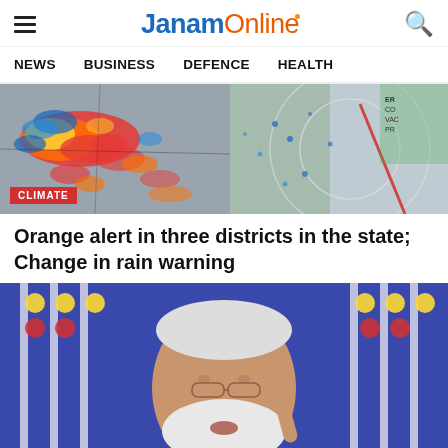JanamOnline
NEWS   BUSINESS   DEFENCE   HEALTH
[Figure (photo): Weather radar map on the left showing rain bands; satellite/radar map on the right with climate overlay. CLIMATE label badge in lower-left.]
Orange alert in three districts in the state; Change in rain warning
[Figure (photo): Close-up photo of Prime Minister Narendra Modi pointing upward, with colorful flower decorations in the background.]